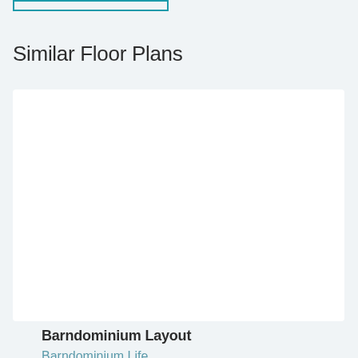[Figure (other): Teal/cyan bordered rectangle at the top of the page, partially cropped]
Similar Floor Plans
[Figure (photo): White rectangular card/image placeholder for a floor plan image]
Barndominium Layout
Barndominium Life